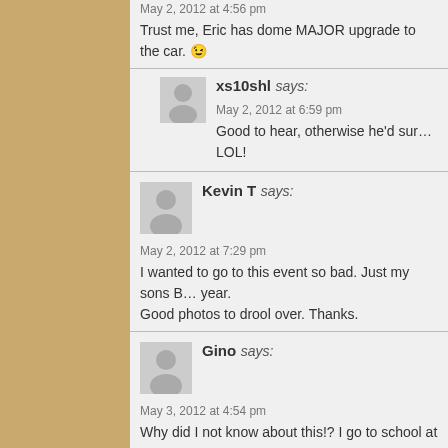May 2, 2012 at 4:56 pm
Trust me, Eric has dome MAJOR upgrades to the car. 😉
xs10shl says:
May 2, 2012 at 6:59 pm
Good to hear, otherwise he'd sure... LOL!
Kevin T says:
May 2, 2012 at 7:29 pm
I wanted to go to this event so bad. Just my sons B... year.
Good photos to drool over. Thanks.
Gino says:
May 3, 2012 at 4:54 pm
Why did I not know about this!? I go to school at UC...